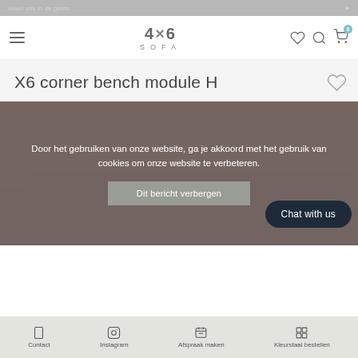4×6 SOFA
X6 corner bench module H
Door het gebruiken van onze website, ga je akkoord met het gebruik van cookies om onze website te verbeteren.
Dit bericht verbergen
Contact   Instagram   Afspraak maken   Kleurstaal bestellen